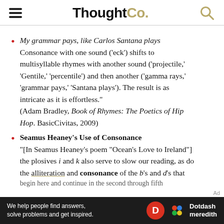ThoughtCo.
My grammar pays, like Carlos Santana plays Consonance with one sound ('eck') shifts to multisyllable rhymes with another sound ('projectile,' 'Gentile,' 'percentile') and then another ('gamma rays,' 'grammar pays,' 'Santana plays'). The result is as intricate as it is effortless." (Adam Bradley, Book of Rhymes: The Poetics of Hip Hop. BasicCivitas, 2009)
Seamus Heaney's Use of Consonance
"[In Seamus Heaney's poem "Ocean's Love to Ireland"] the plosives i and k also serve to slow our reading, as do the alliteration and consonance of the b's and d's that begin here and continue in the second through fifth
[Figure (other): Dotdash Meredith advertisement banner: 'We help people find answers, solve problems and get inspired.']